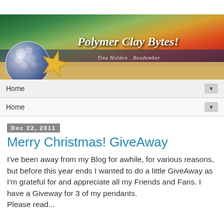[Figure (illustration): Polymer Clay Bytes! blog banner with beach sunset background, decorative polymer clay orb with bubbles, starfish, handwritten title 'Polymer Clay Bytes!' and subtitle 'Tina Holden . Beadember']
Home ▼
Home ▼
Dec 22, 2011
Merry Christmas! GiveAway
I've been away from my Blog for awhile, for various reasons, but before this year ends I wanted to do a little GiveAway as I'm grateful for and appreciate all my Friends and Fans. I have a Giveway for 3 of my pendants.
Please read...